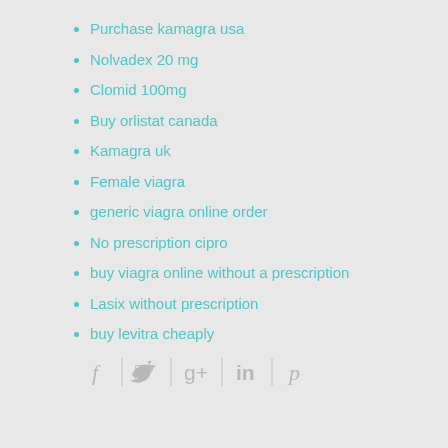Purchase kamagra usa
Nolvadex 20 mg
Clomid 100mg
Buy orlistat canada
Kamagra uk
Female viagra
generic viagra online order
No prescription cipro
buy viagra online without a prescription
Lasix without prescription
buy levitra cheaply
[Figure (infographic): Social media icons: Facebook, Twitter, Google+, LinkedIn, Pinterest separated by vertical dividers]